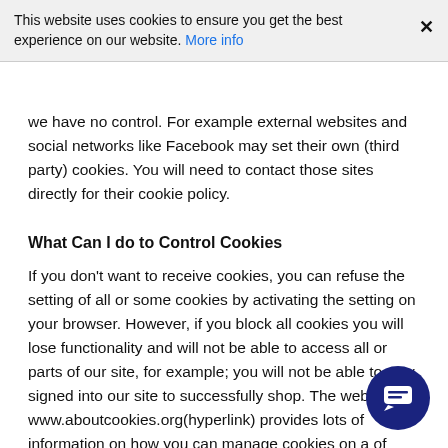This website uses cookies to ensure you get the best experience on our website. More info
we have no control. For example external websites and social networks like Facebook may set their own (third party) cookies. You will need to contact those sites directly for their cookie policy.
What Can I do to Control Cookies
If you don't want to receive cookies, you can refuse the setting of all or some cookies by activating the setting on your browser. However, if you block all cookies you will lose functionality and will not be able to access all or parts of our site, for example; you will not be able to stay signed into our site to successfully shop. The website www.aboutcookies.org(hyperlink) provides lots of information on how you can manage cookies on a of browsers.